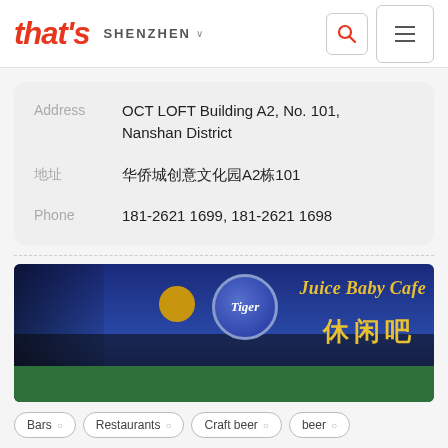that's SHENZHEN
| Field | Value |
| --- | --- |
| Address | OCT LOFT Building A2, No. 101, Nanshan District |
| 地址 | 华侨城创意文化园A2栋101 |
| Phone | 181-2621 1699, 181-2621 1698 |
[Figure (photo): Store front photo showing Juice Baby Cafe (休闲吧) sign with Tiger Beer logo and yellow circle logo on a blue banner, green facade below]
Bars
Restaurants
Craft beer
beer